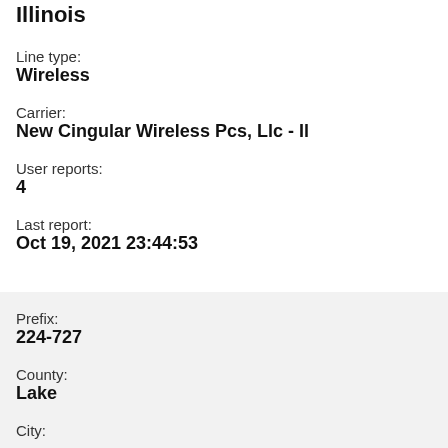Illinois
Line type:
Wireless
Carrier:
New Cingular Wireless Pcs, Llc - Il
User reports:
4
Last report:
Oct 19, 2021 23:44:53
Prefix:
224-727
County:
Lake
City: